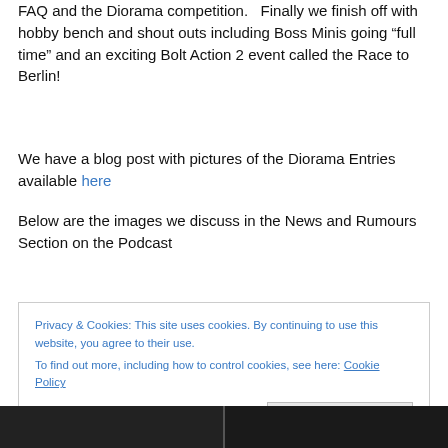FAQ and the Diorama competition.   Finally we finish off with hobby bench and shout outs including Boss Minis going “full time” and an exciting Bolt Action 2 event called the Race to Berlin!
We have a blog post with pictures of the Diorama Entries available here
Below are the images we discuss in the News and Rumours Section on the Podcast
Privacy & Cookies: This site uses cookies. By continuing to use this website, you agree to their use.
To find out more, including how to control cookies, see here: Cookie Policy
[Figure (photo): Two dark images at the bottom of the page showing miniature figures]